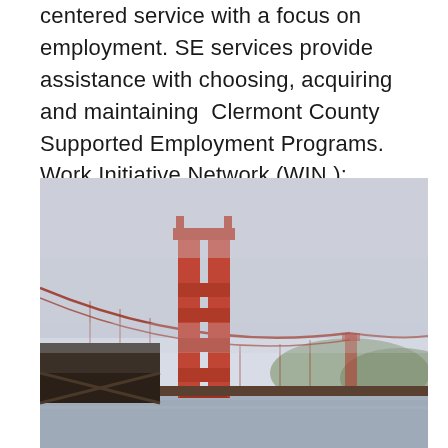centered service with a focus on employment. SE services provide assistance with choosing, acquiring and maintaining  Clermont County Supported Employment Programs. Work Initiative Network (WIN ): Serves adults with severe mental illness.
[Figure (photo): Photograph of the Golden Gate Bridge taken from water level, showing the main tower and suspension cables with misty sky and hills in the background.]